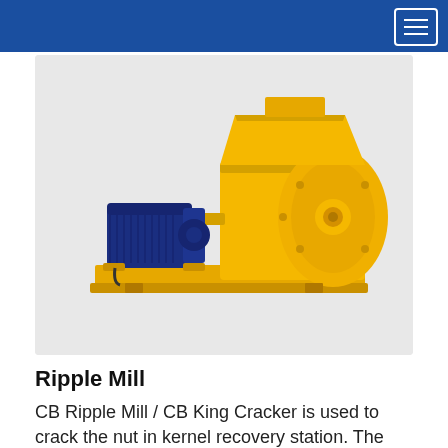[Figure (photo): Yellow industrial Ripple Mill / CB King Cracker machine with a blue electric motor mounted on a yellow base plate, photographed on a light grey background.]
Ripple Mill
CB Ripple Mill / CB King Cracker is used to crack the nut in kernel recovery station. The revolutionary design of CB (?) Mill...